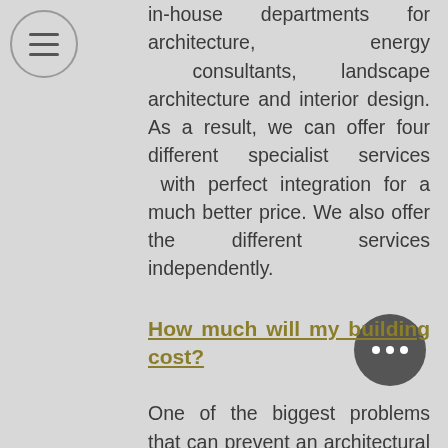in-house departments for architecture, energy consultants, landscape architecture and interior design. As a result, we can offer four different specialist services with perfect integration for a much better price. We also offer the different services independently.
How much will my building cost?
One of the biggest problems that can prevent an architectural project from coming to fruition is the unexpectedly high costs of construction. Clients often have unrealistic expectations of how much they can build within their predetermined budget because they